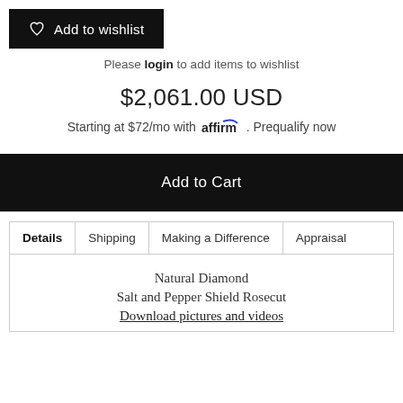Add to wishlist
Please login to add items to wishlist
$2,061.00 USD
Starting at $72/mo with affirm. Prequalify now
Add to Cart
| Details | Shipping | Making a Difference | Appraisal |
| --- | --- | --- | --- |
Natural Diamond
Salt and Pepper Shield Rosecut
Download pictures and videos